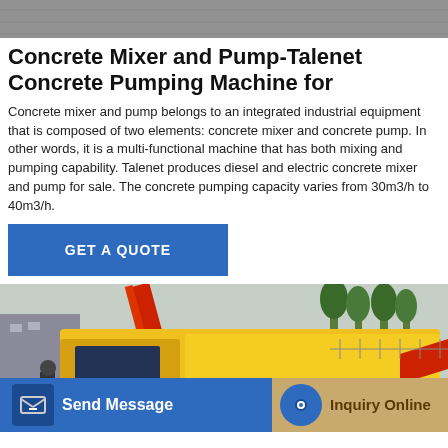[Figure (photo): Top partial photo of a concrete surface or machinery, grey textured background]
Concrete Mixer and Pump-Talenet Concrete Pumping Machine for
Concrete mixer and pump belongs to an integrated industrial equipment that is composed of two elements: concrete mixer and concrete pump. In other words, it is a multi-functional machine that has both mixing and pumping capability. Talenet produces diesel and electric concrete mixer and pump for sale. The concrete pumping capacity varies from 30m3/h to 40m3/h.
[Figure (other): Blue button labeled GET A QUOTE]
[Figure (photo): Yellow concrete pump truck (HBTS60-13-75 CONCRETE PUMP) in outdoor setting with red crane and trees in background]
[Figure (other): Bottom footer bar with Send Message button (blue) and Inquiry Online button (tan/gold)]